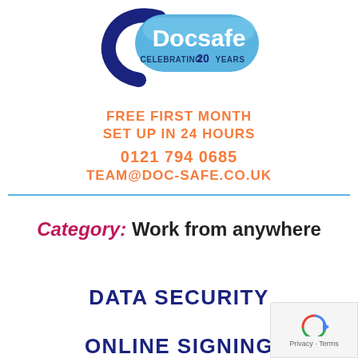[Figure (logo): Docsafe logo — blue pill/capsule shape with white 'Docsafe' text and 'CELEBRATING 20 YEARS' text, with a dark blue arrow curling around it]
FREE FIRST MONTH
SET UP IN 24 HOURS
0121 794 0685
TEAM@DOC-SAFE.CO.UK
Category: Work from anywhere
DATA SECURITY
ONLINE SIGNING